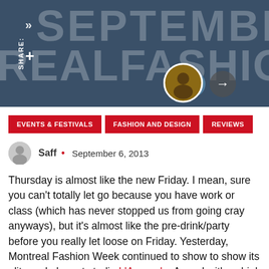[Figure (photo): Hero banner with dark blue-gray background showing large semi-transparent text 'SEPTEMBER' and 'REALFASHIONWEEK', with social share icons, circular avatar, and navigation arrows]
EVENTS & FESTIVALS
FASHION AND DESIGN
REVIEWS
Saff • September 6, 2013
Thursday is almost like the new Friday. I mean, sure you can't totally let go because you have work or class (which has never stopped us from going cray anyways), but it's almost like the pre-drink/party before you really let loose on Friday. Yesterday, Montreal Fashion Week continued to show to show its glitz and glam at studio L'Arsenal, . Armed with a drink in hand and socializing with